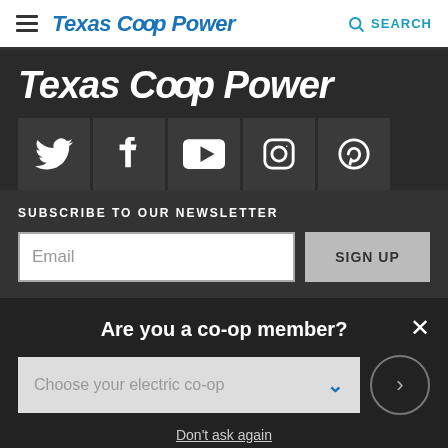Texas Co-op Power | SEARCH
Texas Co-op Power
[Figure (illustration): Row of five social media icons: Twitter, Facebook, YouTube, Instagram, Pinterest on dark grey square backgrounds]
SUBSCRIBE TO OUR NEWSLETTER
Email  SIGN UP
Are you a co-op member?
Choose your electric co-op
Don't ask again